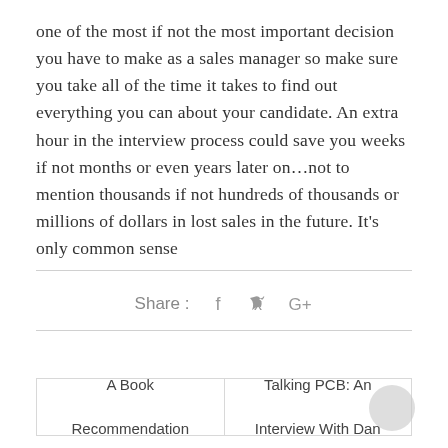one of the most if not the most important decision you have to make as a sales manager so make sure you take all of the time it takes to find out everything you can about your candidate. An extra hour in the interview process could save you weeks if not months or even years later on…not to mention thousands if not hundreds of thousands or millions of dollars in lost sales in the future. It's only common sense
[Figure (infographic): Social share bar with Share label, Facebook (f), Twitter (bird), and Google+ (G+) icons]
| A Book Recommendation | Talking PCB: An Interview With Dan |
| --- | --- |